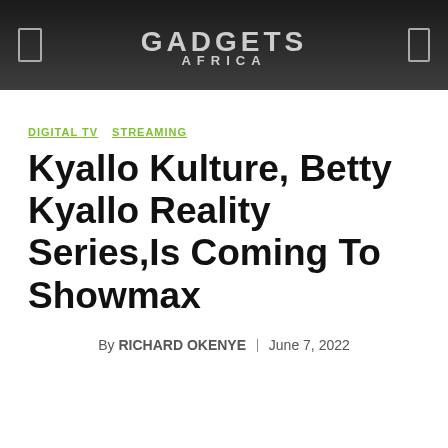GADGETS AFRICA
DIGITAL TV   STREAMING
Kyallo Kulture, Betty Kyallo Reality Series,Is Coming To Showmax
By RICHARD OKENYE | June 7, 2022